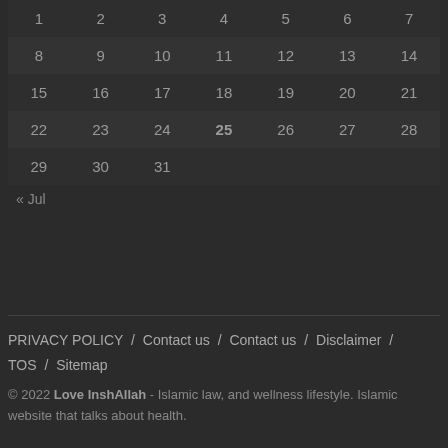| 1 | 2 | 3 | 4 | 5 | 6 | 7 |
| 8 | 9 | 10 | 11 | 12 | 13 | 14 |
| 15 | 16 | 17 | 18 | 19 | 20 | 21 |
| 22 | 23 | 24 | 25 | 26 | 27 | 28 |
| 29 | 30 | 31 |  |  |  |  |
« Jul
PRIVACY POLICY / Contact us / Contact us / Disclaimer / TOS / Sitemap
© 2022 Love InshAllah - Islamic law, and wellness lifestyle. Islamic website that talks about health.